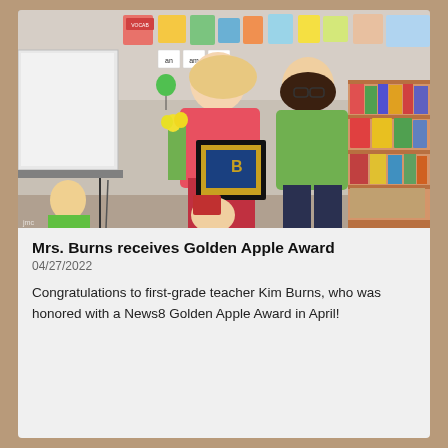[Figure (photo): Two women standing in a colorful elementary school classroom. One woman in a red/pink floral top holds yellow flowers and a framed Golden Apple Award certificate. Another woman in a green sweater stands beside her. Classroom bookshelves with colorful bins are visible in the background. Two children are partially visible in the foreground.]
Mrs. Burns receives Golden Apple Award
04/27/2022
Congratulations to first-grade teacher Kim Burns, who was honored with a News8 Golden Apple Award in April!